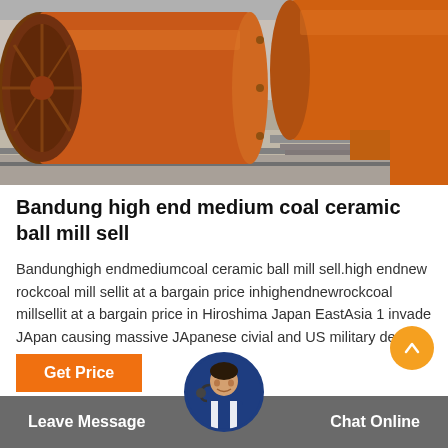[Figure (photo): Industrial orange cylindrical ball mills/rotary kilns on a concrete floor in a factory yard]
Bandung high end medium coal ceramic ball mill sell
Bandunghigh endmediumcoal ceramic ball mill sell.high endnew rockcoal mill sellit at a bargain price inhighendnewrockcoal millsellit at a bargain price in Hiroshima Japan EastAsia 1 invade JApan causing massive JApanese civial and US military deaths …
Get Price
Leave Message   Chat Online